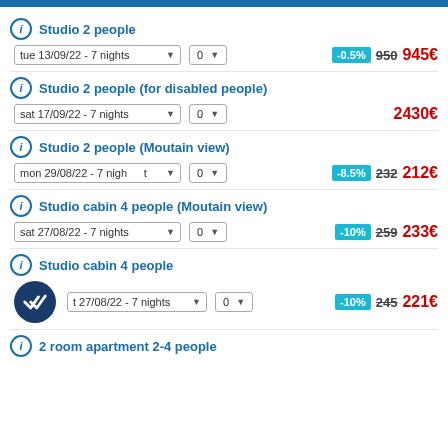Studio 2 people — tue 13/09/22 - 7 nights, 0, -0.5%, 950, 945€
Studio 2 people (for disabled people) — sat 17/09/22 - 7 nights, 0, 2430€
Studio 2 people (Moutain view) — mon 29/08/22 - 7 nights, 0, -8.5%, 232, 212€
Studio cabin 4 people (Moutain view) — sat 27/08/22 - 7 nights, 0, -10%, 259, 233€
Studio cabin 4 people — sat 27/08/22 - 7 nights, 0, -10%, 245, 221€
2 room apartment 2-4 people